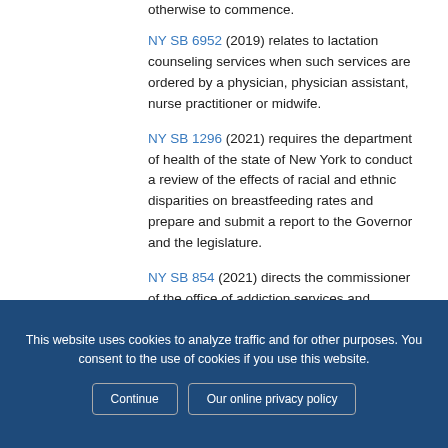otherwise to commence.
NY SB 6952 (2019) relates to lactation counseling services when such services are ordered by a physician, physician assistant, nurse practitioner or midwife.
NY SB 1296 (2021) requires the department of health of the state of New York to conduct a review of the effects of racial and ethnic disparities on breastfeeding rates and prepare and submit a report to the Governor and the legislature.
NY SB 854 (2021) directs the commissioner of the office of addiction services and supports to include
This website uses cookies to analyze traffic and for other purposes. You consent to the use of cookies if you use this website. Continue   Our online privacy policy